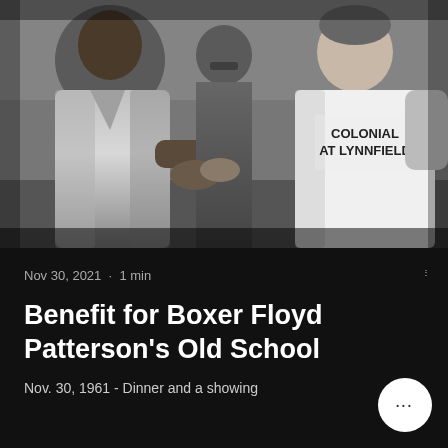[Figure (photo): Black and white photograph of two boxers shaking hands. The man on the left wears a robe. The man on the right wears a white t-shirt reading 'COLONIAL AT LYNNFIELD'. A third man stands between them in the background.]
Nov 30, 2021 · 1 min
Benefit for Boxer Floyd Patterson's Old School
Nov. 30, 1961 - Dinner and a showing